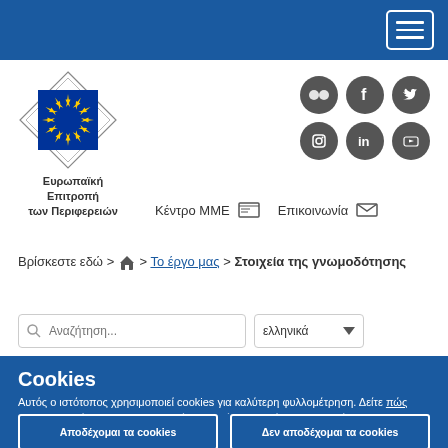Navigation bar with hamburger menu button
[Figure (logo): European Committee of the Regions logo - EU flag emblem with diamond border]
Ευρωπαϊκή Επιτροπή των Περιφερειών
[Figure (illustration): Social media icons: Flickr, Facebook, Twitter, Instagram, LinkedIn, YouTube]
Κέντρο ΜΜΕ  Επικοινωνία
Βρίσκεστε εδώ > 🏠 > Το έργο μας > Στοιχεία της γνωμοδότησης
Αναζήτηση... ελληνικά
Cookies
Αυτός ο ιστότοπος χρησιμοποιεί cookies για καλύτερη φυλλομέτρηση. Δείτε πώς χρησιμοποιούμε τα cookies και πώς μπορείτε να αλλάξετε τις ρυθμίσεις σας.
Αποδέχομαι τα cookies
Δεν αποδέχομαι τα cookies